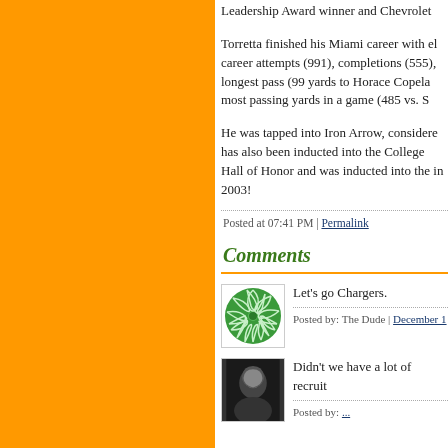Leadership Award winner and Chevrolet
Torretta finished his Miami career with career attempts (991), completions (555), longest pass (99 yards to Horace Copeland), most passing yards in a game (485 vs. S
He was tapped into Iron Arrow, considered, has also been inducted into the College Hall of Honor and was inducted into the in 2003!
Posted at 07:41 PM | Permalink
Comments
Let's go Chargers.
Posted by: The Dude | December 1
[Figure (illustration): Green spiral/sunburst pattern avatar image]
Didn't we have a lot of recruit
[Figure (photo): Black and white photo of a person, appears to be a sports figure]